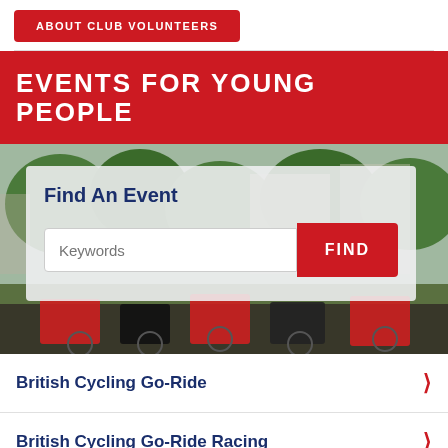ABOUT CLUB VOLUNTEERS
EVENTS FOR YOUNG PEOPLE
[Figure (photo): Cyclists at an outdoor cycling event, people on road bikes in a park setting]
Find An Event
British Cycling Go-Ride
British Cycling Go-Ride Racing